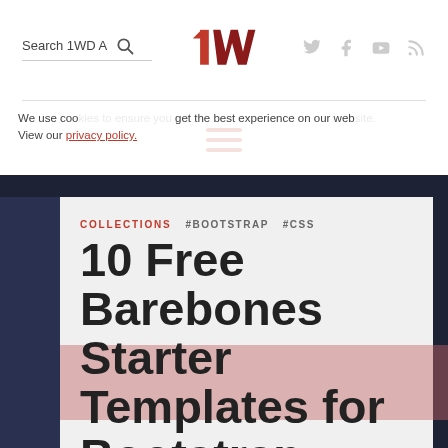Search 1WD A [search icon] [logo: 1WD] [twitter] [facebook] [youtube] [rss]
[Figure (logo): 1WD logo in red and dark red, stylized letters '1' and 'WD']
[Figure (other): Hamburger menu icon — three red horizontal lines]
We use cookies to ensure you get the best experience on our website. View our privacy policy.
COLLECTIONS  #BOOTSTRAP  #CSS
10 Free Barebones Starter Templates for Bootstrap